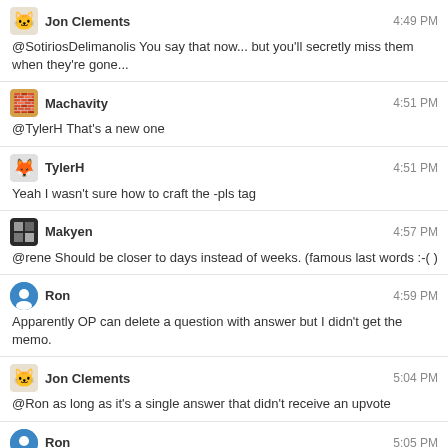Jon Clements 4:49 PM @SotiriosDelimanolis You say that now... but you'll secretly miss them when they're gone...
Machavity 4:51 PM @TylerH That's a new one
TylerH 4:51 PM Yeah I wasn't sure how to craft the -pls tag
Makyen 4:57 PM @rene Should be closer to days instead of weeks. (famous last words :-( )
Ron 4:59 PM Apparently OP can delete a question with answer but I didn't get the memo.
Jon Clements 5:04 PM @Ron as long as it's a single answer that didn't receive an upvote
Ron 5:05 PM @JonClements I see.
Makyen 5:06 PM @TylerH While the close reason used by the person who initially voted-to-close isn't valid, the question doesn't contain a MCVE. [Note: The review is complete, with leave open as the result.]
Jon Clements 5:07 PM